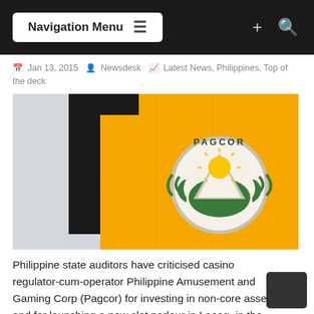Navigation Menu
Jan 13, 2015  Newsdesk  Latest News, Philippines, Top of the deck
[Figure (photo): PAGCOR logo on yellow tiled building exterior — circular emblem with sun and green wave/mountain design on a yellow wall]
Philippine state auditors have criticised casino regulator-cum-operator Philippine Amusement and Gaming Corp (Pagcor) for investing in non-core assets and for launching a new slot parlour in Laoag, in the province of Ilocos Norte, that later struggled.